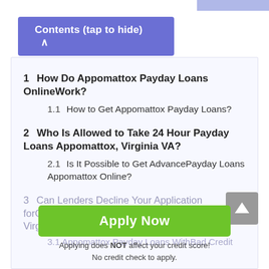Contents (tap to hide) ^
1  How Do Appomattox Payday Loans OnlineWork?
1.1  How to Get Appomattox Payday Loans?
2  Who Is Allowed to Take 24 Hour Payday Loans Appomattox, Virginia VA?
2.1  Is It Possible to Get AdvancePayday Loans Appomattox Online?
3  Can Lenders Decline Your Application forCheckmate Payday Loans Appomattox, Virginia?
3.1  Appomattox Payday Loans WithBad Credit
Apply Now
Applying does NOT affect your credit score!
No credit check to apply.